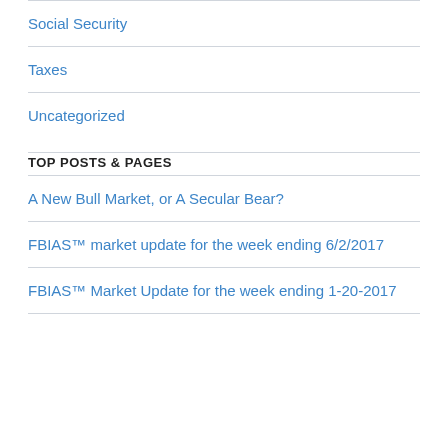Social Security
Taxes
Uncategorized
TOP POSTS & PAGES
A New Bull Market, or A Secular Bear?
FBIAS™ market update for the week ending 6/2/2017
FBIAS™ Market Update for the week ending 1-20-2017